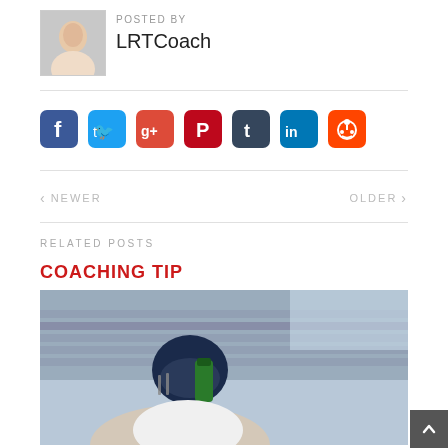[Figure (photo): Author avatar photo of a woman smiling]
POSTED BY
LRTCoach
[Figure (infographic): Social media sharing icons: Facebook, Twitter, Google+, Pinterest, Tumblr, LinkedIn, Reddit]
< NEWER
OLDER >
RELATED POSTS
COACHING TIP
[Figure (photo): Football player in helmet drinking from a green water bottle at a stadium]